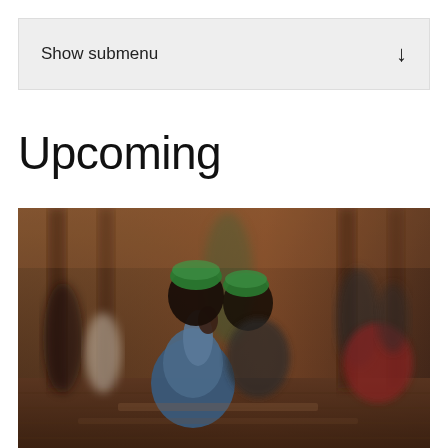Show submenu ↓
Upcoming
[Figure (photo): People praying inside a mosque or historical building. Two men wearing green kufi caps are in the foreground, one kneeling in prayer. Other people are visible in the background in a warmly lit interior with wooden floors and columns.]